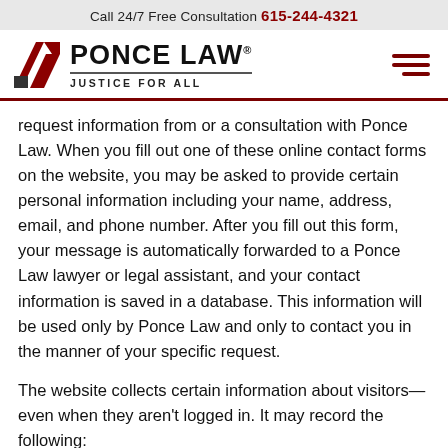Call 24/7 Free Consultation 615-244-4321
[Figure (logo): Ponce Law logo with red parallelogram icon, bold text 'PONCE LAW', tagline 'JUSTICE FOR ALL', and hamburger menu icon on the right]
request information from or a consultation with Ponce Law. When you fill out one of these online contact forms on the website, you may be asked to provide certain personal information including your name, address, email, and phone number. After you fill out this form, your message is automatically forwarded to a Ponce Law lawyer or legal assistant, and your contact information is saved in a database. This information will be used only by Ponce Law and only to contact you in the manner of your specific request.
The website collects certain information about visitors—even when they aren't logged in. It may record the following: